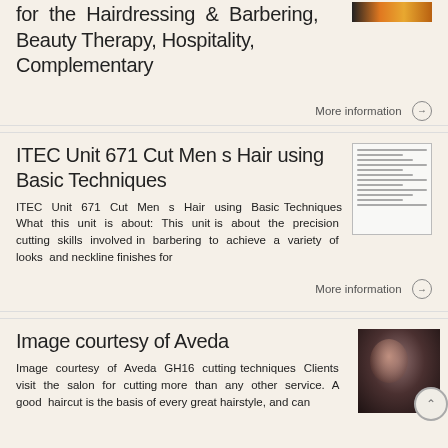for the Hairdressing & Barbering, Beauty Therapy, Hospitality, Complementary
More information →
ITEC Unit 671 Cut Men s Hair using Basic Techniques
ITEC Unit 671 Cut Men s Hair using Basic Techniques What this unit is about: This unit is about the precision cutting skills involved in barbering to achieve a variety of looks and neckline finishes for
[Figure (illustration): Thumbnail of a document with lines of text]
More information →
Image courtesy of Aveda
Image courtesy of Aveda GH16 cutting techniques Clients visit the salon for cutting more than any other service. A good haircut is the basis of every great hairstyle, and can
[Figure (photo): Portrait photo of a woman with dark hair against dark background]